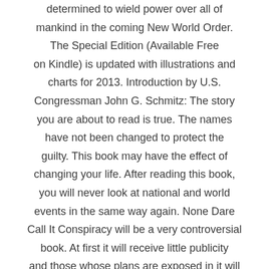determined to wield power over all of mankind in the coming New World Order. The Special Edition (Available Free on Kindle) is updated with illustrations and charts for 2013. Introduction by U.S. Congressman John G. Schmitz: The story you are about to read is true. The names have not been changed to protect the guilty. This book may have the effect of changing your life. After reading this book, you will never look at national and world events in the same way again. None Dare Call It Conspiracy will be a very controversial book. At first it will receive little publicity and those whose plans are exposed in it will try to kill it by the silent treatment. For reasons that become obvious as you read